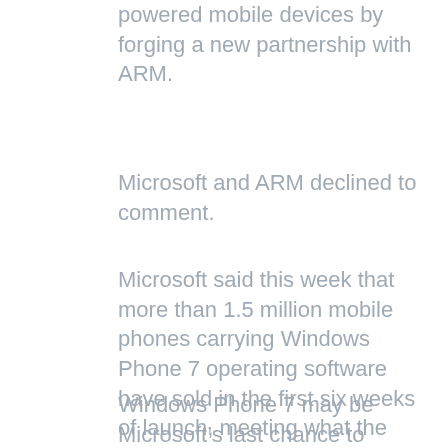powered mobile devices by forging a new partnership with ARM.
Microsoft and ARM declined to comment.
Microsoft said this week that more than 1.5 million mobile phones carrying Windows Phone 7 operating software have sold in the first six weeks of launch, meeting what the company called “realistic” expectations.
Windows Phone 7 may be Microsoft’s last chance to establish a major presence in a hot mobile market now dominated by Apple and Google,